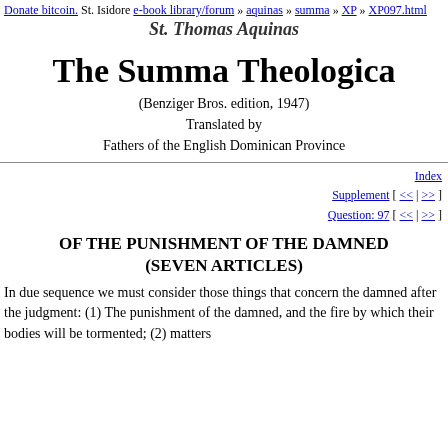Donate bitcoin. St. Isidore e-book library/forum » aquinas » summa » XP » XP097.html
St. Thomas Aquinas
The Summa Theologica
(Benziger Bros. edition, 1947)
Translated by
Fathers of the English Dominican Province
Index
Supplement [ << | >> ]
Question: 97 [ << | >> ]
OF THE PUNISHMENT OF THE DAMNED (SEVEN ARTICLES)
In due sequence we must consider those things that concern the damned after the judgment: (1) The punishment of the damned, and the fire by which their bodies will be tormented; (2) matters